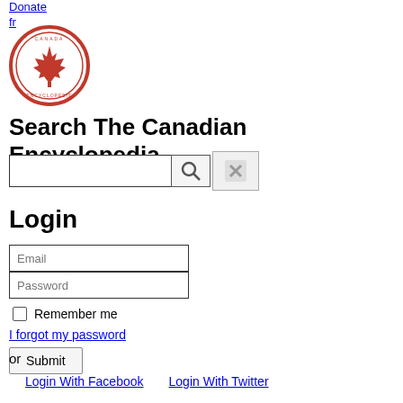Donate
fr
[Figure (logo): The Canadian Encyclopedia circular red logo with maple leaf]
Search The Canadian Encyclopedia
[Figure (screenshot): Search bar with search icon button and clear (X) button]
Login
[Figure (screenshot): Login form with Email field, Password field, Remember me checkbox, I forgot my password link, and Submit button]
or
Login With Facebook    Login With Twitter